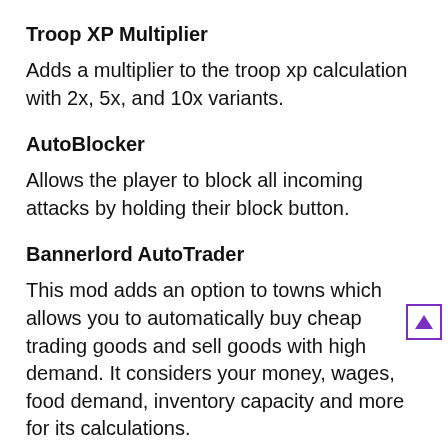Troop XP Multiplier
Adds a multiplier to the troop xp calculation with 2x, 5x, and 10x variants.
AutoBlocker
Allows the player to block all incoming attacks by holding their block button.
Bannerlord AutoTrader
This mod adds an option to towns which allows you to automatically buy cheap trading goods and sell goods with high demand. It considers your money, wages, food demand, inventory capacity and more for its calculations.